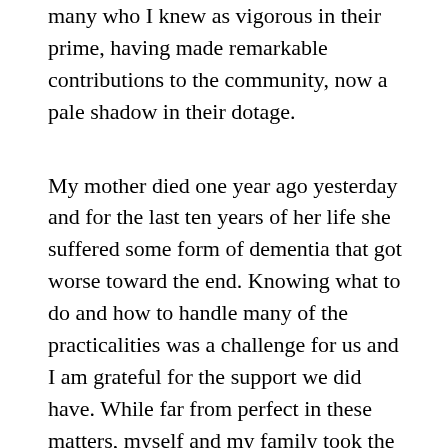many who I knew as vigorous in their prime, having made remarkable contributions to the community, now a pale shadow in their dotage.
My mother died one year ago yesterday and for the last ten years of her life she suffered some form of dementia that got worse toward the end. Knowing what to do and how to handle many of the practicalities was a challenge for us and I am grateful for the support we did have. While far from perfect in these matters, myself and my family took the view that mum needed to be cared for, ideally by us but